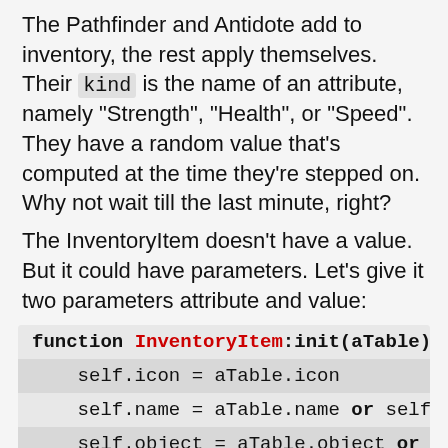The Pathfinder and Antidote add to inventory, the rest apply themselves. Their kind is the name of an attribute, namely "Strength", "Health", or "Speed". They have a random value that's computed at the time they're stepped on. Why not wait till the last minute, right?
The InventoryItem doesn't have a value. But it could have parameters. Let's give it two parameters attribute and value:
[Figure (screenshot): Code block showing function InventoryItem:init(aTable) with lines: self.icon = aTable.icon, self.name = aTable.name or self.i (truncated), self.object = aTable.object or se (truncated), and a partially visible fourth line]